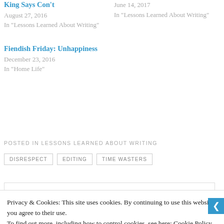King Says Con't
August 27, 2016
In "Lessons Learned About Writing"
June 14, 2017
In "Lessons Learned About Writing"
Fiendish Friday: Unhappiness
December 23, 2016
In "Home Life"
POSTED IN LESSONS LEARNED ABOUT WRITING
DISRESPECT
EDITING
TIME WASTERS
Privacy & Cookies: This site uses cookies. By continuing to use this website, you agree to their use.
To find out more, including how to control cookies, see here: Cookie Policy
Close and accept